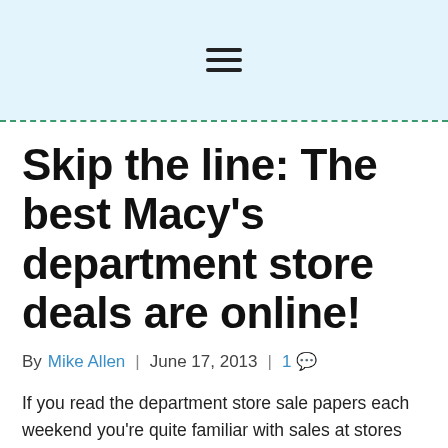[Figure (other): Light blue header bar with hamburger menu icon (three horizontal lines)]
Skip the line: The best Macy's department store deals are online!
By Mike Allen | June 17, 2013 | 1 💬
If you read the department store sale papers each weekend you're quite familiar with sales at stores such as Macy's, a department store well known for running fantastic sales on clothing and home goods. With over 80 years of service, M... brings you thousands of name brand products to fit every lifestyle